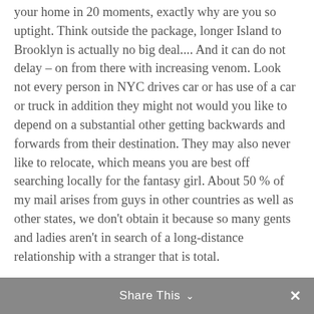your home in 20 moments, exactly why are you so uptight. Think outside the package, longer Island to Brooklyn is actually no big deal.... And it can do not delay – on from there with increasing venom. Look not every person in NYC drives car or has use of a car or truck in addition they might not would you like to depend on a substantial other getting backwards and forwards from their destination. They may also never like to relocate, which means you are best off searching locally for the fantasy girl. About 50 % of my mail arises from guys in other countries as well as other states, we don't obtain it because so many gents and ladies aren't in search of a long-distance relationship with a stranger that is total.
Share This ∨  ✕